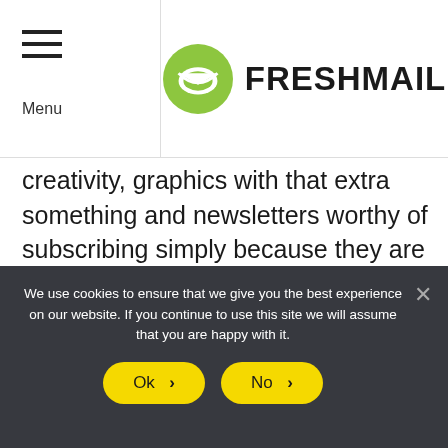FRESHMAIL — Menu header with logo
creativity, graphics with that extra something and newsletters worthy of subscribing simply because they are done well :)
Below there are 6 inspirational ideas to help you catch that Road Runner!
We use cookies to ensure that we give you the best experience on our website. If you continue to use this site we will assume that you are happy with it.